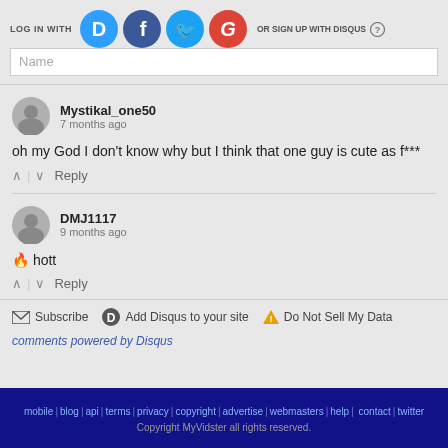LOG IN WITH
[Figure (screenshot): Social login icons: Disqus (blue D), Facebook (blue f), Twitter (blue bird), Google (red G)]
OR SIGN UP WITH DISQUS
Name
Mystikal_one50
7 months ago
oh my God I don't know why but I think that one guy is cute as f***
∧ | ∨ Reply
DMJ1117
9 months ago
🔥 hott
∧ | ∨ Reply
Subscribe    Add Disqus to your site    Do Not Sell My Data
comments powered by Disqus
mobile | blog | api | terms | privacy | copyright | advertise | webmasters | help | contact | twitter
Copyright MyVidster all rights reserved.